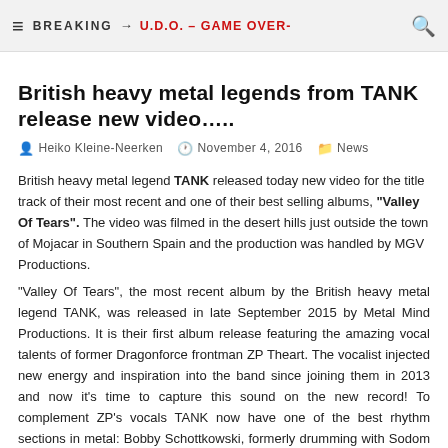BREAKING → U.D.O. – GAME OVER-
British heavy metal legends from TANK release new video…..
Heiko Kleine-Neerken   November 4, 2016   News
British heavy metal legend TANK released today new video for the title track of their most recent and one of their best selling albums, "Valley Of Tears". The video was filmed in the desert hills just outside the town of Mojacar in Southern Spain and the production was handled by MGV Productions. "Valley Of Tears", the most recent album by the British heavy metal legend TANK, was released in late September 2015 by Metal Mind Productions. It is their first album release featuring the amazing vocal talents of former Dragonforce frontman ZP Theart. The vocalist injected new energy and inspiration into the band since joining them in 2013 and now it's time to capture this sound on the new record! To complement ZP's vocals TANK now have one of the best rhythm sections in metal: Bobby Schottkowski, formerly drumming with Sodom and current Blind Guardian member – Barend Courbois on bass. Together with Mick Tucker and Cliff Evans on guitars they ready to take another